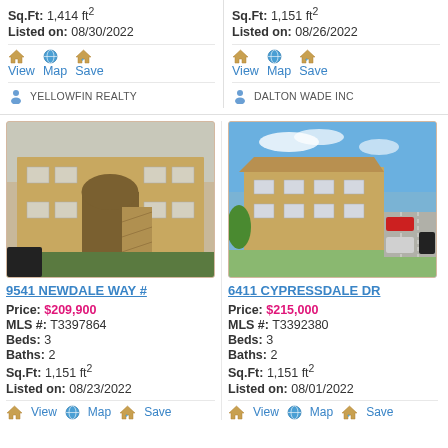Sq.Ft: 1,414 ft² | Listed on: 08/30/2022
Sq.Ft: 1,151 ft² | Listed on: 08/26/2022
View | Map | Save
View | Map | Save
YELLOWFIN REALTY
DALTON WADE INC
[Figure (photo): Exterior photo of tan/beige multi-story apartment building with arch entryway and stairs]
[Figure (photo): Aerial exterior photo of tan/beige apartment complex with green trees and parking lot under blue sky]
9541 NEWDALE WAY #
6411 CYPRESSDALE DR
Price: $209,900 | MLS #: T3397864 | Beds: 3 | Baths: 2 | Sq.Ft: 1,151 ft² | Listed on: 08/23/2022
Price: $215,000 | MLS #: T3392380 | Beds: 3 | Baths: 2 | Sq.Ft: 1,151 ft² | Listed on: 08/01/2022